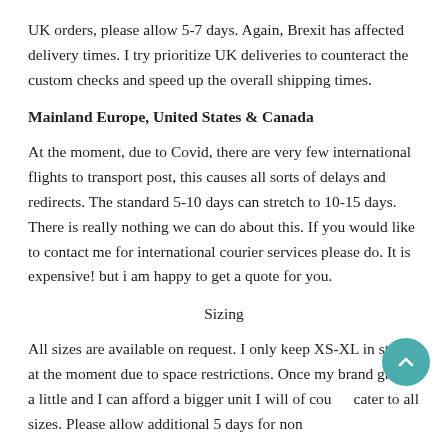UK orders, please allow 5-7 days. Again, Brexit has affected delivery times. I try prioritize UK deliveries to counteract the custom checks and speed up the overall shipping times.
Mainland Europe, United States & Canada
At the moment, due to Covid, there are very few international flights to transport post, this causes all sorts of delays and redirects. The standard 5-10 days can stretch to 10-15 days. There is really nothing we can do about this. If you would like to contact me for international courier services please do. It is expensive! but i am happy to get a quote for you.
Sizing
All sizes are available on request. I only keep XS-XL in stock at the moment due to space restrictions. Once my brand grows a little and I can afford a bigger unit I will of course cater to all sizes. Please allow additional 5 days for non